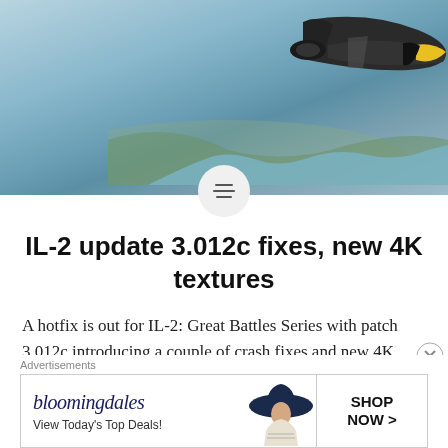[Figure (photo): Aerial photograph of a WWII warplane (possibly a Bf109 or Spitfire) flying over a landscape with rivers visible below. The plane is shown from above/side angle with dark fuselage and yellow/black markings on the tail.]
IL-2 update 3.012c fixes, new 4K textures
A hotfix is out for IL-2: Great Battles Series with patch 3.012c introducing a couple of crash fixes and new 4K textures for the Bf109K-4 and the Spitfire IX. List of fixes The patch, launched earlier today, includes a couple of fixes and the aforementioned new 4K
Advertisements
[Figure (screenshot): Bloomingdale's advertisement banner showing the Bloomingdales logo, text 'View Today's Top Deals!', an image of a woman wearing a large brimmed hat, and a 'SHOP NOW >' button.]